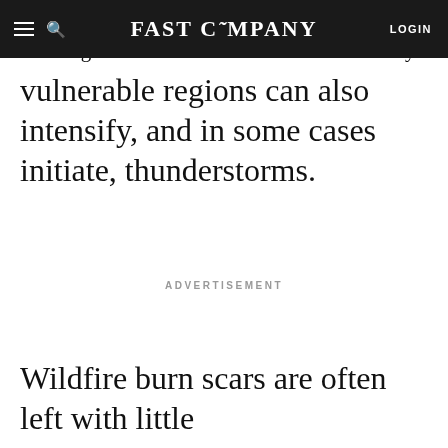FAST COMPANY  LOGIN
leaving changed landscapes that are prone to flooding. Less well known is that these already vulnerable regions can also intensify, and in some cases initiate, thunderstorms.
ADVERTISEMENT
Wildfire burn scars are often left with little